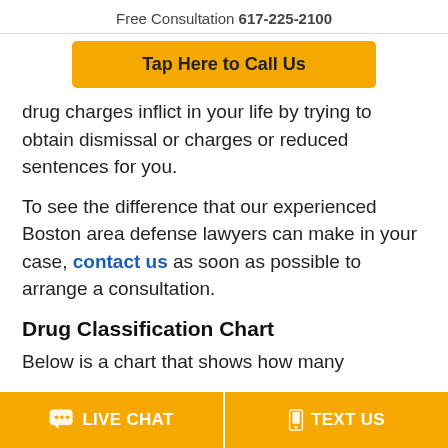Free Consultation 617-225-2100
Tap Here to Call Us
drug charges inflict in your life by trying to obtain dismissal or charges or reduced sentences for you.
To see the difference that our experienced Boston area defense lawyers can make in your case, contact us as soon as possible to arrange a consultation.
Drug Classification Chart
Below is a chart that shows how many
LIVE CHAT   TEXT US